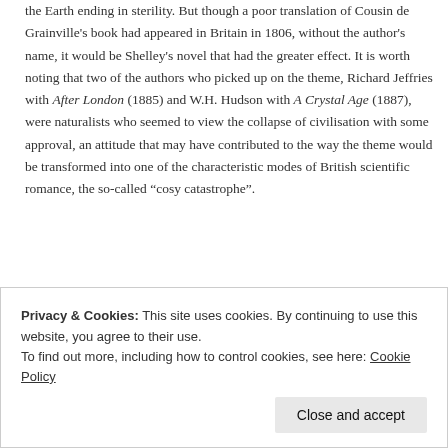the Earth ending in sterility. But though a poor translation of Cousin de Grainville's book had appeared in Britain in 1806, without the author's name, it would be Shelley's novel that had the greater effect. It is worth noting that two of the authors who picked up on the theme, Richard Jeffries with After London (1885) and W.H. Hudson with A Crystal Age (1887), were naturalists who seemed to view the collapse of civilisation with some approval, an attitude that may have contributed to the way the theme would be transformed into one of the characteristic modes of British scientific romance, the so-called “cosy catastrophe”.
Privacy & Cookies: This site uses cookies. By continuing to use this website, you agree to their use.
To find out more, including how to control cookies, see here: Cookie Policy
Close and accept